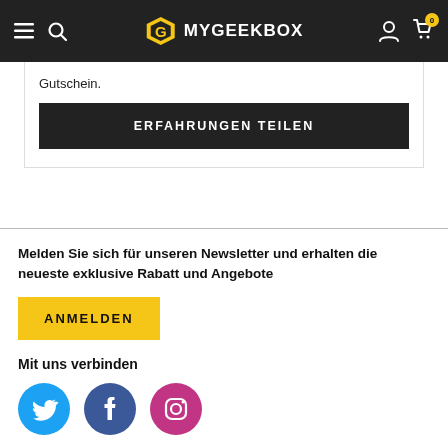MYGEEKBOX
Gutschein.
ERFAHRUNGEN TEILEN
Melden Sie sich für unseren Newsletter und erhalten die neueste exklusive Rabatt und Angebote
ANMELDEN
Mit uns verbinden
[Figure (other): Social media icons: Twitter (cyan circle), Facebook (dark blue circle), Instagram (pink/magenta circle)]